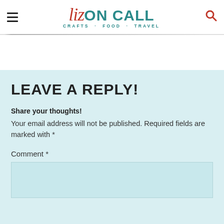Liz ON CALL · CRAFTS · FOOD · TRAVEL
LEAVE A REPLY!
Share your thoughts!
Your email address will not be published. Required fields are marked with *
Comment *